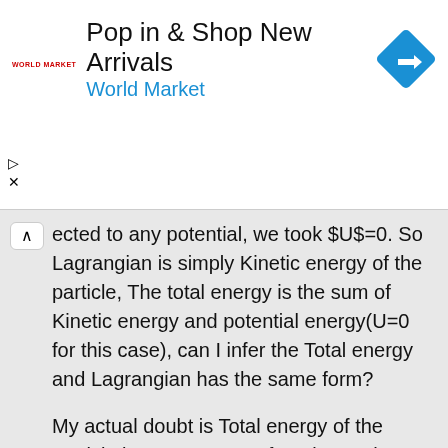[Figure (other): Advertisement banner for World Market: 'Pop in & Shop New Arrivals' with World Market logo and blue directional sign icon]
ected to any potential, we took $U$=0. So Lagrangian is simply Kinetic energy of the particle, The total energy is the sum of Kinetic energy and potential energy(U=0 for this case), can I infer the Total energy and Lagrangian has the same form?
My actual doubt is Total energy of the particle is not constant of motion, rather $E-\vec{\omega}.\vec{J}$ is the constant of motion. when I derived I got
By the definition of Constant of motion, if I